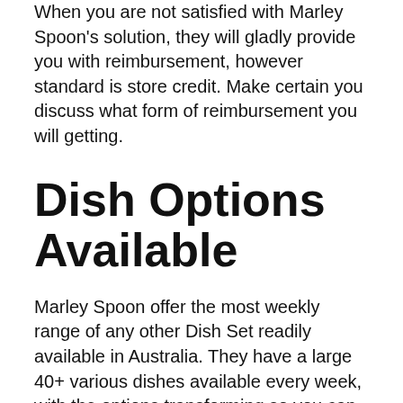When you are not satisfied with Marley Spoon's solution, they will gladly provide you with reimbursement, however standard is store credit. Make certain you discuss what form of reimbursement you will getting.
Dish Options Available
Marley Spoon offer the most weekly range of any other Dish Set readily available in Australia. They have a large 40+ various dishes available every week, with the options transforming so you can have various meals every week. This always includes at the very least 8 vegetarian dishes, as well as more than 10 gluten free